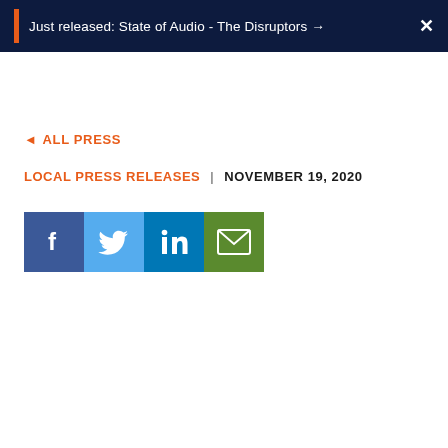Just released: State of Audio - The Disruptors →
◄ ALL PRESS
LOCAL PRESS RELEASES | NOVEMBER 19, 2020
[Figure (infographic): Social sharing buttons: Facebook (blue), Twitter (light blue), LinkedIn (dark blue), Email (green)]